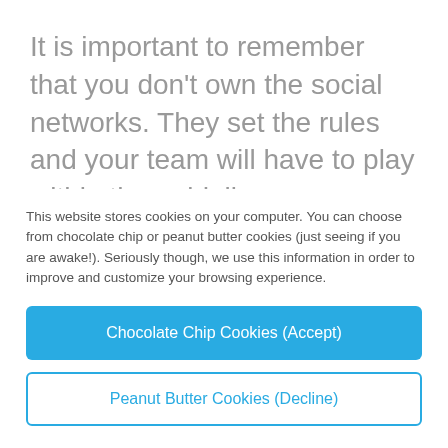It is important to remember that you don't own the social networks. They set the rules and your team will have to play within the guidelines. Encourage your team to follow trends and encourage them to be a little experimental. Your social media plan should not be a straitjacket. A little divergence from that plan without deviating from the
This website stores cookies on your computer. You can choose from chocolate chip or peanut butter cookies (just seeing if you are awake!). Seriously though, we use this information in order to improve and customize your browsing experience.
Chocolate Chip Cookies (Accept)
Peanut Butter Cookies (Decline)